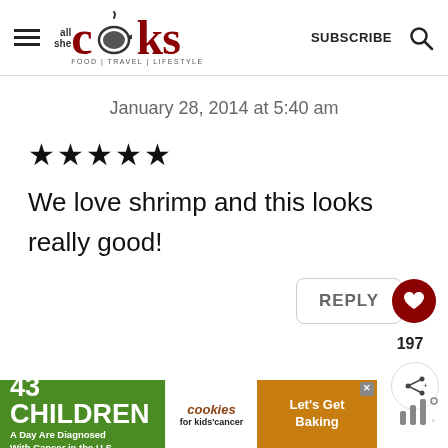all she cooks — FOOD | TRAVEL | LIFESTYLE — SUBSCRIBE
January 28, 2014 at 5:40 am
★★★★★
We love shrimp and this looks really good!
[Figure (screenshot): Ad banner: 43 CHILDREN A Day Are Diagnosed With Cancer in the U.S. — cookies for kids cancer — Let's Get Baking]